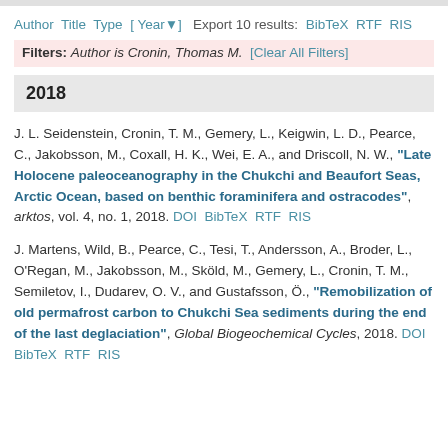Author Title Type [ Year▼ ]  Export 10 results:  BibTeX  RTF  RIS
Filters: Author is Cronin, Thomas M.  [Clear All Filters]
2018
J. L. Seidenstein, Cronin, T. M., Gemery, L., Keigwin, L. D., Pearce, C., Jakobsson, M., Coxall, H. K., Wei, E. A., and Driscoll, N. W., "Late Holocene paleoceanography in the Chukchi and Beaufort Seas, Arctic Ocean, based on benthic foraminifera and ostracodes", arktos, vol. 4, no. 1, 2018. DOI  BibTeX  RTF  RIS
J. Martens, Wild, B., Pearce, C., Tesi, T., Andersson, A., Broder, L., O'Regan, M., Jakobsson, M., Sköld, M., Gemery, L., Cronin, T. M., Semiletov, I., Dudarev, O. V., and Gustafsson, Ö., "Remobilization of old permafrost carbon to Chukchi Sea sediments during the end of the last deglaciation", Global Biogeochemical Cycles, 2018. DOI  BibTeX  RTF  RIS